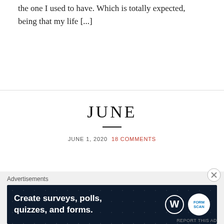the one I used to have. Which is totally expected, being that my life [...]
JUNE
JUNE 1, 2020   18 COMMENTS
Advertisements
[Figure (screenshot): Advertisement banner: 'Create surveys, polls, quizzes, and forms.' with WordPress and FormScan logos on dark navy background with dot pattern.]